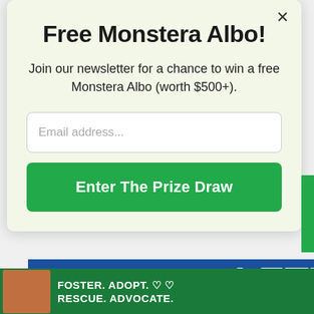Free Monstera Albo!
Join our newsletter for a chance to win a free Monstera Albo (worth $500+).
Email address...
Enter The Prize Draw
[Figure (screenshot): Advertisement banner showing 'LET'S BE FRIENDS' text on a blue background]
[Figure (screenshot): Dog adoption ad with text: FOSTER. ADOPT. RESCUE. ADVOCATE.]